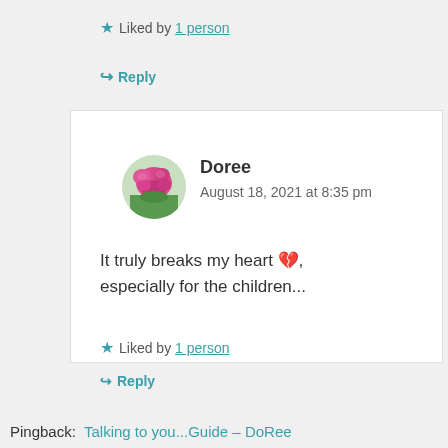★ Liked by 1 person
↪ Reply
Doree
August 18, 2021 at 8:35 pm
It truly breaks my heart 💔, especially for the children...
★ Liked by 1 person
↪ Reply
Pingback: Talking to you...Guide – DoRee